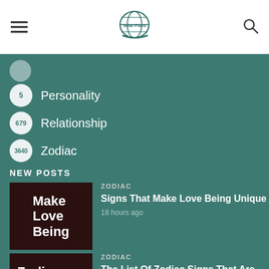Solar Plans logo, hamburger menu, search icon
5 Personality
679 Relationship
3640 Zodiac
NEW POSTS
[Figure (illustration): Dark red thumbnail with text: Make Love Being]
ZODIAC
Signs That Make Love Being Unique
18 hours ago
[Figure (illustration): Dark red thumbnail with text: Zodiac Signs That Are]
ZODIAC
The List Of Zodiac Signs That Are Soulmates
18 hours ago
[Figure (illustration): Dark red thumbnail with text: Zodiac (partially visible)]
ZODIAC (partially visible)